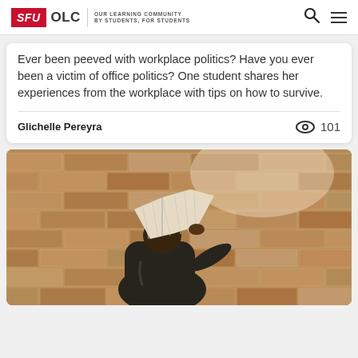SFU OLC | OUR LEARNING COMMUNITY BY STUDENTS, FOR STUDENTS
Ever been peeved with workplace politics? Have you ever been a victim of office politics? One student shares her experiences from the workplace with tips on how to survive.
Glichelle Pereyra   👁 101
[Figure (photo): A person holding an open book over their face, standing against a brick wall background.]